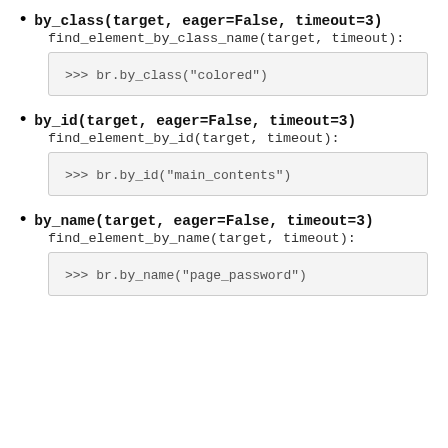by_class(target, eager=False, timeout=3)
    find_element_by_class_name(target, timeout):
>>> br.by_class("colored")
by_id(target, eager=False, timeout=3)
    find_element_by_id(target, timeout):
>>> br.by_id("main_contents")
by_name(target, eager=False, timeout=3)
    find_element_by_name(target, timeout):
>>> br.by_name("page_password")